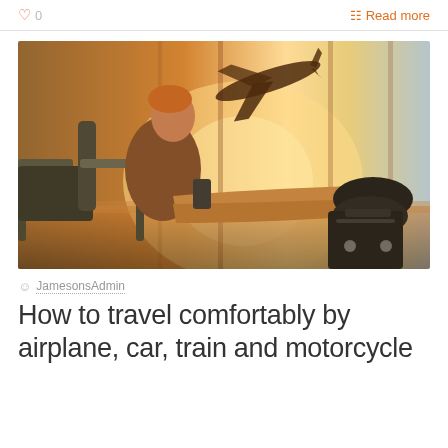♡ 0   Read more
[Figure (photo): Man sitting in airport lounge chair with feet propped on luggage, looking out large window at airplane taking off, warm golden sunset light]
JamesonsAdmin
How to travel comfortably by airplane, car, train and motorcycle